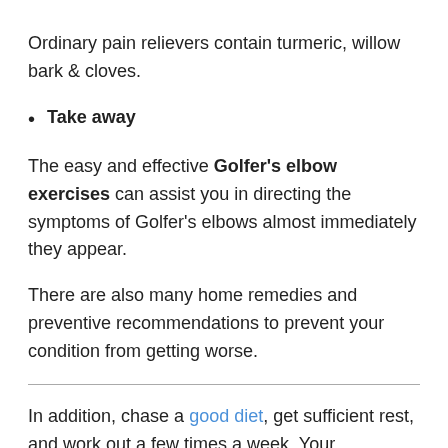Ordinary pain relievers contain turmeric, willow bark & cloves.
Take away
The easy and effective Golfer's elbow exercises can assist you in directing the symptoms of Golfer's elbows almost immediately they appear.
There are also many home remedies and preventive recommendations to prevent your condition from getting worse.
In addition, chase a good diet, get sufficient rest, and work out a few times a week. Your symptoms are supposed to go down within two weeks of cure. If you do not see progress